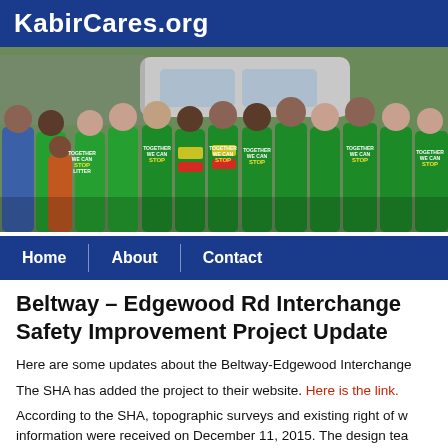KabirCares.org
[Figure (photo): Group photo of people wearing green 'Together We Can Stop Litter' t-shirts, posing outdoors near a car and chain-link fence.]
Home | About | Contact
Beltway – Edgewood Rd Interchange Safety Improvement Project Update
Here are some updates about the Beltway-Edgewood Interchange
The SHA has added the project to their website. Here is the link.
According to the SHA, topographic surveys and existing right of way information were received on December 11, 2015. The design team working towards the 10% design milestone, which includes setting